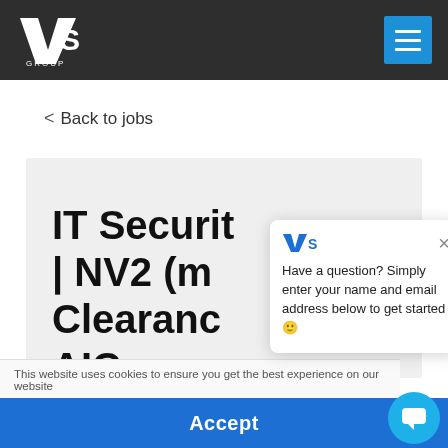VS Group – navigation header with hamburger menu
< Back to jobs
IT Security | NV2 (m Clearance AIC
[Figure (screenshot): VS Group chat popup with text: Have a question? Simply enter your name and email address below to get started 🙂]
This website uses cookies to ensure you get the best experience on our website
Accept